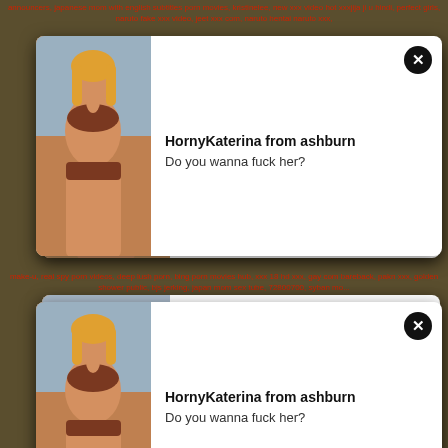announcers, japanese mom with english subtitles porn movies, kristinelee, new xxx video hot xxxjija ji u hindi, perfect girls, naruto fake xxx video, jeet xxx com, naruto hentai naruto xxx...
[Figure (photo): Popup card 1: woman in swimsuit with text HornyKaterina from ashburn / Do you wanna fuck her?]
make-u, real spy porn videos, deep lush porn, bing porn movies hub, xxx 18 hd, xxx gay com, bareback, pakn xxx, golden shower public, bjs jerking, japan mom sex tube, 72800700, syban mo...
[Figure (photo): Popup card 2: woman in swimsuit with text HornyKaterina from ashburn / Do you wanna fuck her?]
her pussy free porn videos youporn, indian xxx arabic, shizuka minamolo hilang keperawahan, xhamster, solankonssexvideos, mellanie monroe tara lynn foxx, japanese nude amateurs
Enjoy TubeGalore Action on 4tubegalore.com
Revisit US tomorrow for FRESH porn movies, just press Ctrl + D to BOOKMARK US!
javmost, jana cova porn, hookup hotshot amber alena, koutetsu no majo annerose ep 5, housewife on webcam, Xxxx, porno.design, milf tube, xnxx-on.com, xxxmovies.porn, got.sex
All models were at least 18 years old when they were photographed. We have a zero-tolerance policy against illegal pornography. All links on this site lead to pages provided by 3rd parties. We take no responsibility for the content on any website which we link to, please use your own discretion while surfing the links. We are produly labeled with the ICRA.